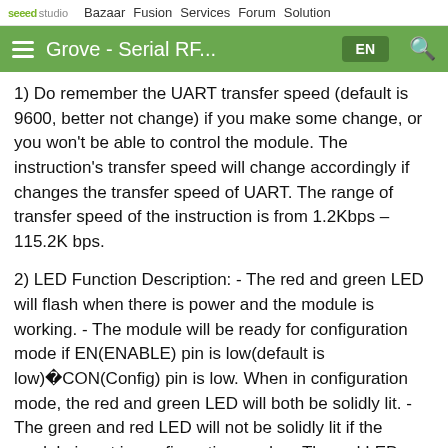seeed studio  Bazaar  Fusion  Services  Forum  Solution
Grove - Serial RF...  EN
1) Do remember the UART transfer speed (default is 9600, better not change) if you make some change, or you won't be able to control the module. The instruction's transfer speed will change accordingly if changes the transfer speed of UART. The range of transfer speed of the instruction is from 1.2Kbps – 115.2K bps.
2) LED Function Description: - The red and green LED will flash when there is power and the module is working. - The module will be ready for configuration mode if EN(ENABLE) pin is low(default is low)CON(Config) pin is low. When in configuration mode, the red and green LED will both be solidly lit. - The green and red LED will not be solidly lit if the module is not in configuration mode. - The red LED flash when the module is transmitting, the red LED